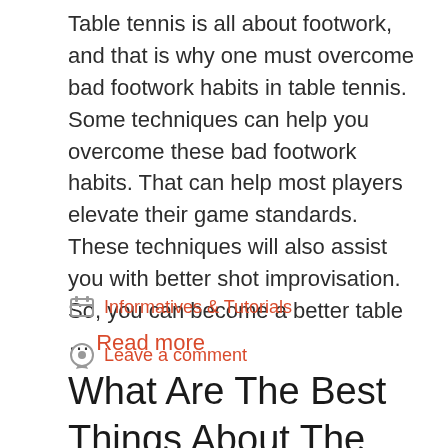Table tennis is all about footwork, and that is why one must overcome bad footwork habits in table tennis. Some techniques can help you overcome these bad footwork habits. That can help most players elevate their game standards. These techniques will also assist you with better shot improvisation. So, you can become a better table … Read more
Informatives & Tutorials
Leave a comment
What Are The Best Things About The Footwork Of Ma